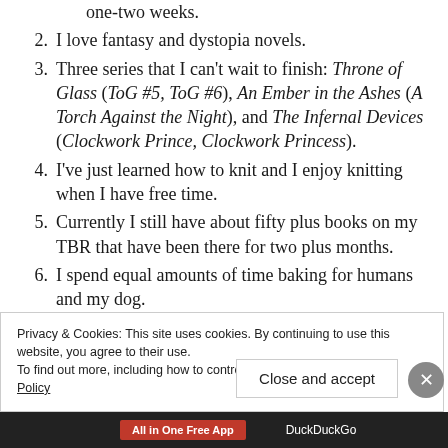one-two weeks.
2. I love fantasy and dystopia novels.
3. Three series that I can't wait to finish: Throne of Glass (ToG #5, ToG #6), An Ember in the Ashes (A Torch Against the Night), and The Infernal Devices (Clockwork Prince, Clockwork Princess).
4. I've just learned how to knit and I enjoy knitting when I have free time.
5. Currently I still have about fifty plus books on my TBR that have been there for two plus months.
6. I spend equal amounts of time baking for humans and my dog.
Privacy & Cookies: This site uses cookies. By continuing to use this website, you agree to their use. To find out more, including how to control cookies, see here: Cookie Policy
Close and accept